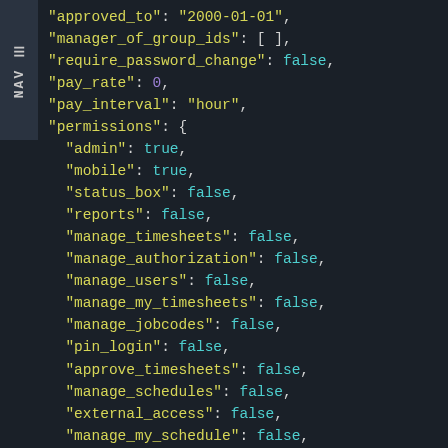[Figure (screenshot): Dark-themed code editor screenshot showing a JSON object snippet with fields: approved_to, manager_of_group_ids, require_password_change, pay_rate, pay_interval, permissions (object with admin, mobile, status_box, reports, manage_timesheets, manage_authorization, manage_users, manage_my_timesheets, manage_jobcodes, pin_login, approve_timesheets, manage_schedules, external_access, manage_my_schedule, manage_company_schedules). A NAV navigation tab appears on the left side.]